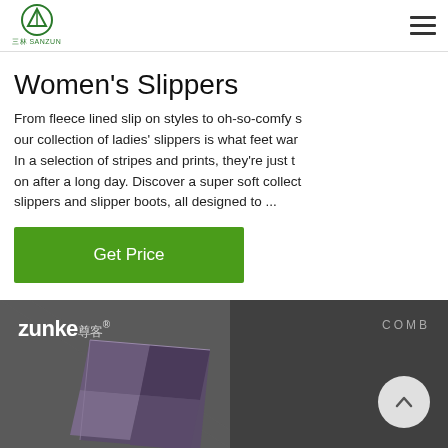SANZUN logo and navigation
Women's Slippers
From fleece lined slip on styles to oh-so-comfy s our collection of ladies' slippers is what feet war In a selection of stripes and prints, they're just t on after a long day. Discover a super soft collect slippers and slipper boots, all designed to ...
Get Price
[Figure (photo): 24/7 Online customer service representative - woman wearing headset smiling]
Click here for free chat !
QUOTATION
[Figure (photo): Zunke brand comb product on dark fabric background with COMB label and scroll-up button]